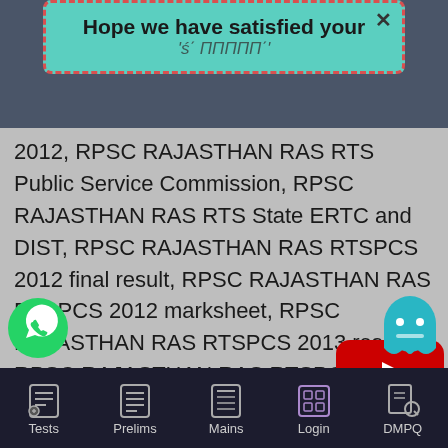[Figure (screenshot): Mobile app screenshot showing a popup banner with teal/mint background and dashed red border containing text 'Hope we have satisfied your' with a close X button, overlaid on a gray content area.]
2012, RPSC RAJASTHAN RAS RTS Public Service Commission, RPSC RAJASTHAN RAS RTS State ERTC and DIST, RPSC RAJASTHAN RAS RTSPCS 2012 final result, RPSC RAJASTHAN RAS RTSPCS 2012 marksheet, RPSC RAJASTHAN RAS RTSPCS 2013 result, RPSC RAJASTHAN RAS RTSPCS Result, RPSC RAJASTHAN RAS RTSPSC 2014, RPSC RAJASTHAN RAS RTSSC revenue inspector exam 2014, RPSC RAS RTS mains 2013, C RAS RTS2015, RPSC RAS RTSmains
Tests   Prelims   Mains   Login   DMPQ